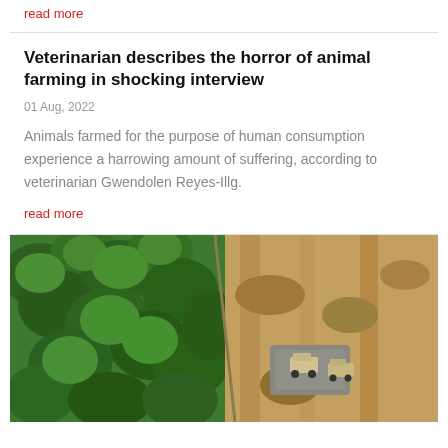read more
Veterinarian describes the horror of animal farming in shocking interview
01 Aug, 2022
Animals farmed for the purpose of human consumption experience a harrowing amount of suffering, according to veterinarian Gwendolen Reyes-Illg.
read more
[Figure (photo): Aerial view showing dense green forest on the left contrasted with cleared, bare earth and construction vehicles on the right, depicting deforestation.]